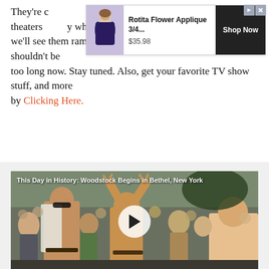They're currently doing new things with the show in theaters ... when we'll see them ramp up the Gabi Hernandez character, but it shouldn't be too long now. Stay tuned. Also, get your favorite TV show stuff, and more by Clicking Here.
[Figure (other): Advertisement banner for 'Rotita Flower Applique 3/4...' priced at $35.98 with a Shop Now button and a thumbnail of a woman in a floral dress]
[Figure (photo): Video thumbnail showing a crowd at Woodstock with shirtless men making peace signs, with a play button overlay. Title text reads: 'This Day in History: Woodstock Begins in Bethel, New York']